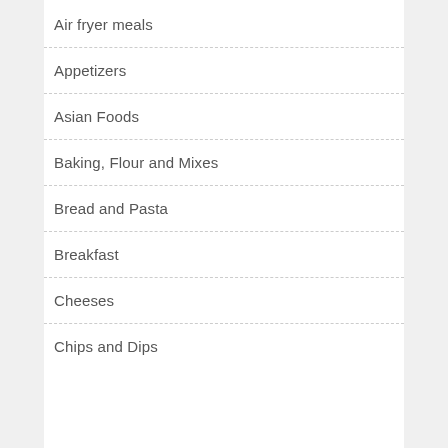Air fryer meals
Appetizers
Asian Foods
Baking, Flour and Mixes
Bread and Pasta
Breakfast
Cheeses
Chips and Dips